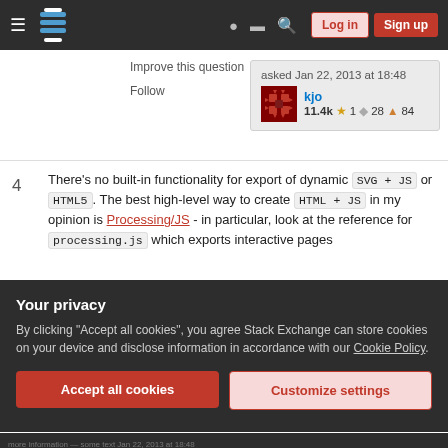Stack Exchange navigation bar with Log in and Sign up buttons
Improve this question
Follow
asked Jan 22, 2013 at 18:48  kjo  11.4k  ★1  ◆28  ▲84
4  There's no built-in functionality for export of dynamic SVG + JS or HTML5. The best high-level way to create HTML + JS in my opinion is Processing/JS - in particular, look at the reference for processing.js which exports interactive pages
Your privacy
By clicking "Accept all cookies", you agree Stack Exchange can store cookies on your device and disclose information in accordance with our Cookie Policy.
Accept all cookies
Customize settings